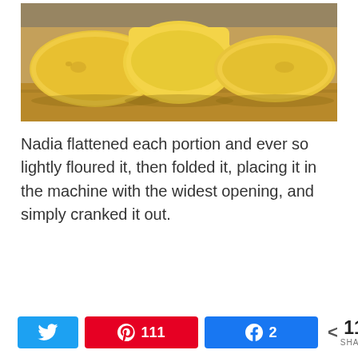[Figure (photo): Three portions of yellow pasta dough or cheese on a wooden cutting board, viewed from the side, with a blurred kitchen background.]
Nadia flattened each portion and ever so lightly floured it, then folded it, placing it in the machine with the widest opening, and simply cranked it out.
[Figure (infographic): Social share bar with Twitter button, Pinterest button showing 111 shares, Facebook button showing 2 shares, and total 113 SHARES count.]